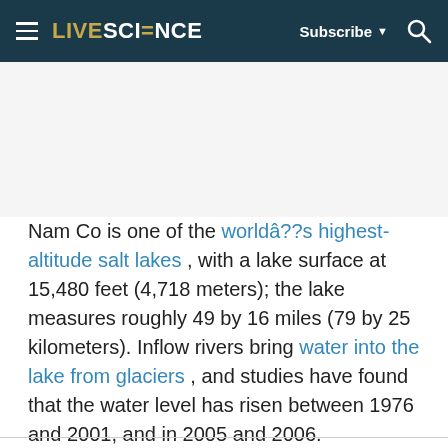LIVESCIENCE — Subscribe ▼ [search icon]
Nam Co is one of the worldâ??s highest-altitude salt lakes , with a lake surface at 15,480 feet (4,718 meters); the lake measures roughly 49 by 16 miles (79 by 25 kilometers). Inflow rivers bring water into the lake from glaciers , and studies have found that the water level has risen between 1976 and 2001, and in 2005 and 2006.